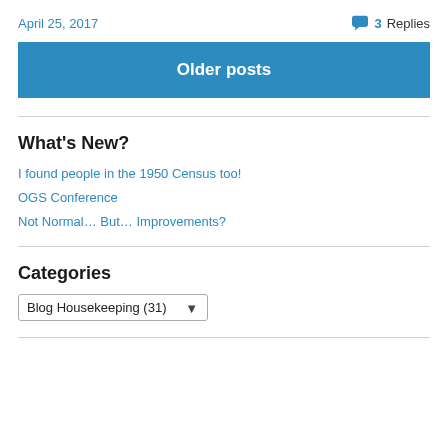April 25, 2017
3 Replies
Older posts
What's New?
I found people in the 1950 Census too!
OGS Conference
Not Normal… But… Improvements?
Categories
Blog Housekeeping  (31)